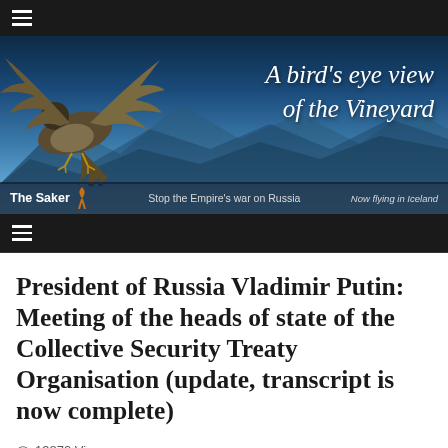≡
[Figure (illustration): Website banner for 'The Saker' blog showing a bird of prey (saker falcon) with wings spread against a blue mountain landscape background. Text reads 'A bird's eye view of the Vineyard'. Bottom bar shows 'The Saker', an orange ribbon, 'Stop the Empire's war on Russia', 'Now flying in Iceland'.]
≡
President of Russia Vladimir Putin: Meeting of the heads of state of the Collective Security Treaty Organisation (update, transcript is now complete)
👁 19870 Views
📅 May 16, 2022